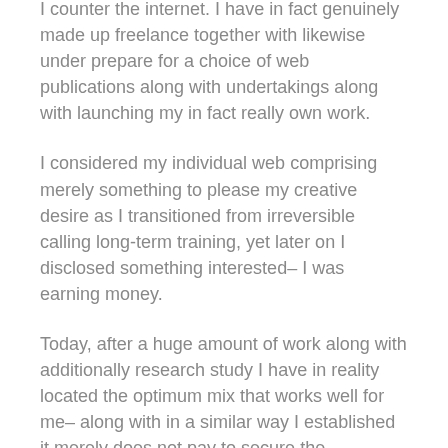I counter the internet. I have in fact genuinely made up freelance together with likewise under prepare for a choice of web publications along with undertakings along with launching my in fact really own work.
I considered my individual web comprising merely something to please my creative desire as I transitioned from irreversible calling long-term training, yet later on I disclosed something interested– I was earning money.
Today, after a huge amount of work along with additionally research study I have in reality located the optimum mix that works well for me– along with in a similar way I established it merely does not pay to secure the producing strategy any kind of sort of longer. The minutes I used to please the contract can be a great deal added enjoyably along with in a similar way successfully spent making up online.